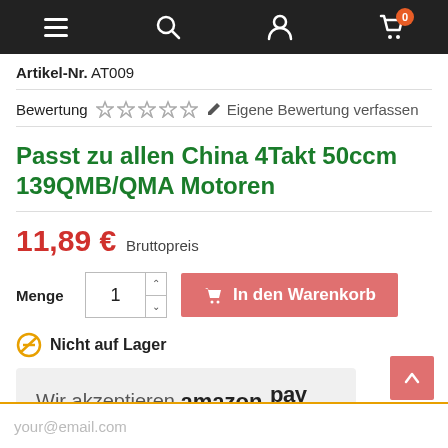Navigation bar with menu, search, account, and cart icons
Artikel-Nr. AT009
Bewertung ☆☆☆☆☆ ✏ Eigene Bewertung verfassen
Passt zu allen China 4Takt 50ccm 139QMB/QMA Motoren
11,89 € Bruttopreis
Menge 1  In den Warenkorb
⊘ Nicht auf Lager
[Figure (other): Amazon Pay accepted banner with orange underline]
your@email.com